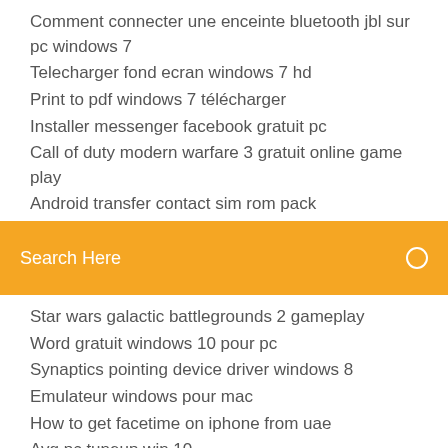Comment connecter une enceinte bluetooth jbl sur pc windows 7
Telecharger fond ecran windows 7 hd
Print to pdf windows 7 télécharger
Installer messenger facebook gratuit pc
Call of duty modern warfare 3 gratuit online game play
Android transfer contact sim rom pack
Search Here
Star wars galactic battlegrounds 2 gameplay
Word gratuit windows 10 pour pc
Synaptics pointing device driver windows 8
Emulateur windows pour mac
How to get facetime on iphone from uae
Avg pc tuneup win 10
Mozilla firefox gratuit télécharger for windows 7 filehippo
Cant télécharger chrome cleanup tool
City bus simulator munich demo télécharger
Free router software for pc